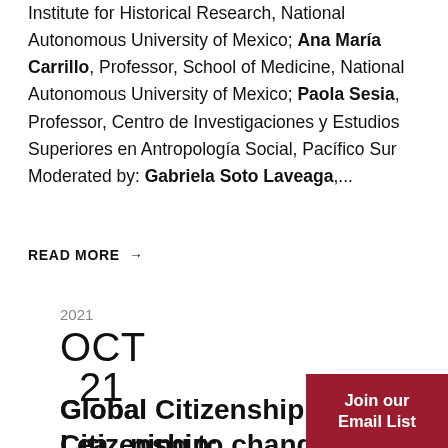Institute for Historical Research, National Autonomous University of Mexico; Ana María Carrillo, Professor, School of Medicine, National Autonomous University of Mexico; Paola Sesia, Professor, Centro de Investigaciones y Estudios Superiores en Antropología Social, Pacífico Sur Moderated by: Gabriela Soto Laveaga,...
READ MORE →
2021
OCT
21
Global Citizenship: Learning to change the world
Join our Email List